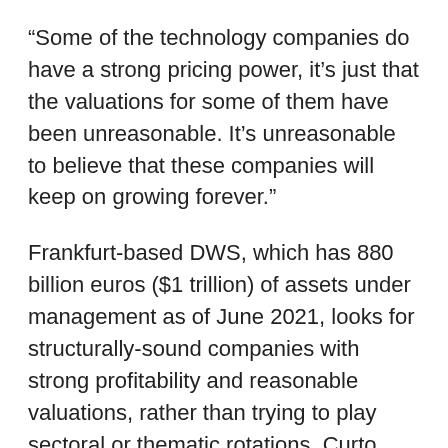“Some of the technology companies do have a strong pricing power, it’s just that the valuations for some of them have been unreasonable. It’s unreasonable to believe that these companies will keep on growing forever.”
Frankfurt-based DWS, which has 880 billion euros ($1 trillion) of assets under management as of June 2021, looks for structurally-sound companies with strong profitability and reasonable valuations, rather than trying to play sectoral or thematic rotations, Curto explained. He recommended investors take a more “nuanced” approach in 2022 than buying stocks that align with the economic recovery.
“If you invest into this part of the market, you can